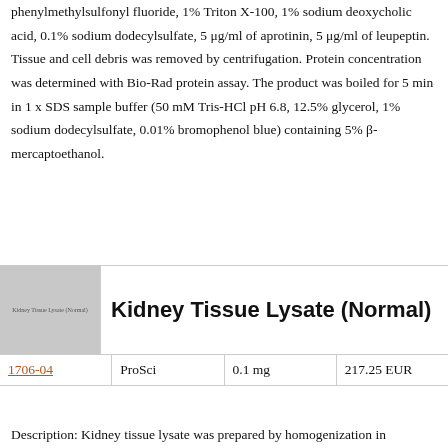phenylmethylsulfonyl fluoride, 1% Triton X-100, 1% sodium deoxycholic acid, 0.1% sodium dodecylsulfate, 5 μg/ml of aprotinin, 5 μg/ml of leupeptin. Tissue and cell debris was removed by centrifugation. Protein concentration was determined with Bio-Rad protein assay. The product was boiled for 5 min in 1 x SDS sample buffer (50 mM Tris-HCl pH 6.8, 12.5% glycerol, 1% sodium dodecylsulfate, 0.01% bromophenol blue) containing 5% β-mercaptoethanol.
[Figure (photo): Thumbnail image placeholder for Kidney Tissue Lysate (Normal) product]
Kidney Tissue Lysate (Normal)
|  | ProSci | 0.1 mg | 217.25 EUR |
| --- | --- | --- | --- |
| 1706-04 | ProSci | 0.1 mg | 217.25 EUR |
Description: Kidney tissue lysate was prepared by homogenization in modified RIPA buffer (150 mM